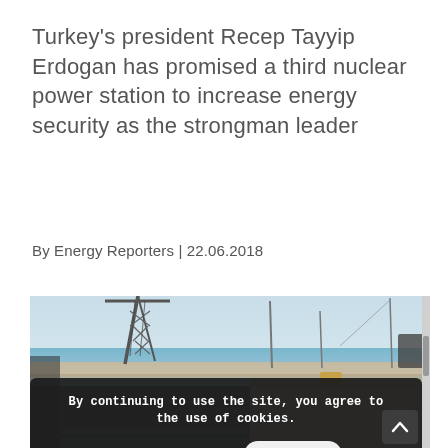Turkey's president Recep Tayyip Erdogan has promised a third nuclear power station to increase energy security as the strongman leader
By Energy Reporters | 22.06.2018
[Figure (photo): Construction crane and industrial port scene beside water/sea, with a dark semi-transparent cookie consent overlay banner showing text and buttons]